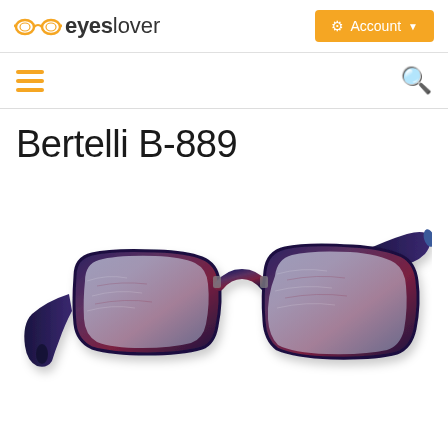eyeslover — Account
Bertelli B-889
[Figure (photo): Product photo of Bertelli B-889 eyeglasses frames — cat-eye style with blue/dark tortoise patterned acetate, rectangular lenses, shown at a slight angle on white background.]